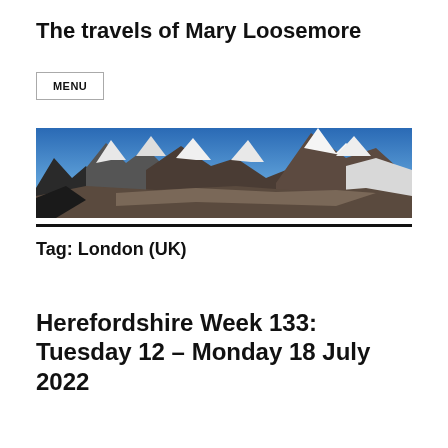The travels of Mary Loosemore
MENU
[Figure (photo): Panoramic photograph of a snow-capped mountain range with a glacier in the foreground under a blue sky]
Tag: London (UK)
Herefordshire Week 133: Tuesday 12 – Monday 18 July 2022